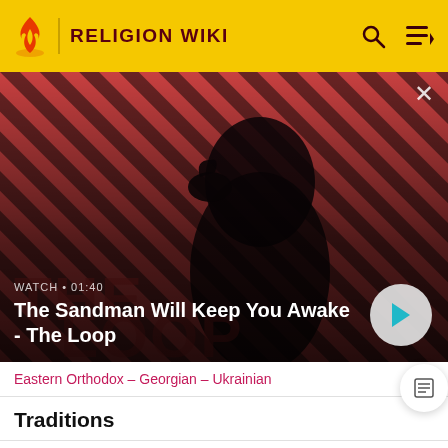RELIGION WIKI
[Figure (screenshot): Video thumbnail for The Sandman Will Keep You Awake - The Loop, showing a pale dark-haired figure with a black bird on shoulder against a red and dark striped background]
WATCH • 01:40
The Sandman Will Keep You Awake - The Loop
Eastern Orthodox – Georgian – Ukrainian
Traditions
Eastern Catholic Churches
Eastern Orthodox Church
Oriental Orthodoxy